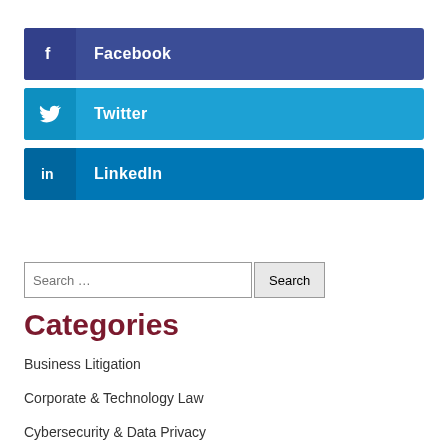Facebook
Twitter
LinkedIn
Search ...
Categories
Business Litigation
Corporate & Technology Law
Cybersecurity & Data Privacy
Employment & Labor Law